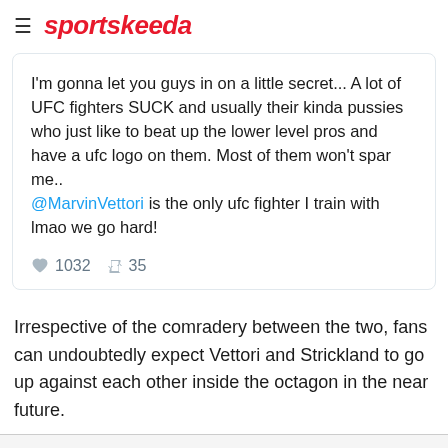sportskeeda
[Figure (screenshot): Embedded tweet screenshot showing text: "I'm gonna let you guys in on a little secret... A lot of UFC fighters SUCK and usually their kinda pussies who just like to beat up the lower level pros and have a ufc logo on them. Most of them won't spar me.. @MarvinVettori is the only ufc fighter I train with lmao we go hard!" with 1032 likes and 35 retweets.]
Irrespective of the comradery between the two, fans can undoubtedly expect Vettori and Strickland to go up against each other inside the octagon in the near future.